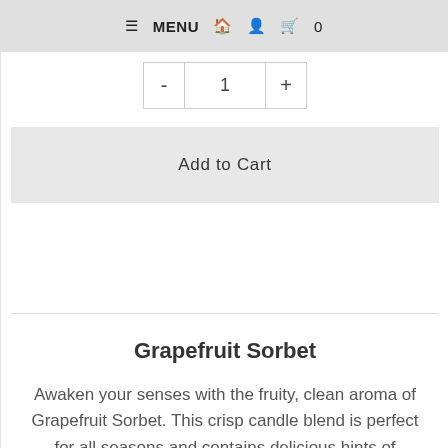≡ MENU 🏠 👤 🛍 0
- 1 +
Add to Cart
Grapefruit Sorbet
Awaken your senses with the fruity, clean aroma of Grapefruit Sorbet. This crisp candle blend is perfect for all seasons and contains delicious hints of mangosteen, peach and lemon. This exotic blend has a base of red current. When entertaining family and friends, let Grapefruit Sorbet light up your